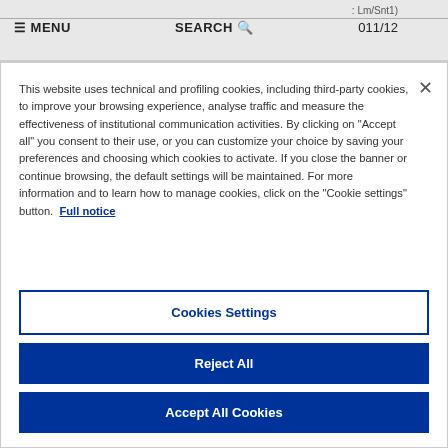≡ MENU   SEARCH 🔍   : Lm/Snt1)  011/12
This website uses technical and profiling cookies, including third-party cookies, to improve your browsing experience, analyse traffic and measure the effectiveness of institutional communication activities. By clicking on "Accept all" you consent to their use, or you can customize your choice by saving your preferences and choosing which cookies to activate. If you close the banner or continue browsing, the default settings will be maintained. For more information and to learn how to manage cookies, click on the "Cookie settings" button. Full notice
Cookies Settings
Reject All
Accept All Cookies